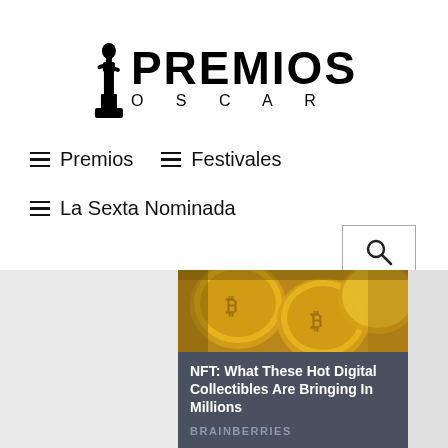[Figure (logo): Premios Oscar logo with Oscar statuette figure and bold PREMIOS text with OSCAR spelled out below]
≡ Premios   ≡ Festivales
≡ La Sexta Nominada
[Figure (screenshot): Article card with gold coins image on top, dark background below with title NFT: What These Hot Digital Collectibles Are Bringing In Millions and source BRAINBERRIES]